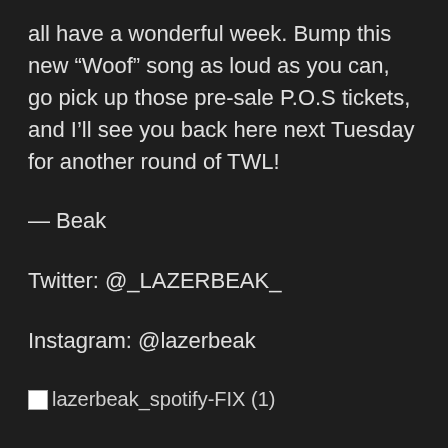all have a wonderful week. Bump this new “Woof” song as loud as you can, go pick up those pre-sale P.O.S tickets, and I’ll see you back here next Tuesday for another round of TWL!
— Beak
Twitter: @_LAZERBEAK_
Instagram: @lazerbeak
[Figure (other): Broken image placeholder with label: lazerbeak_spotify-FIX (1)]